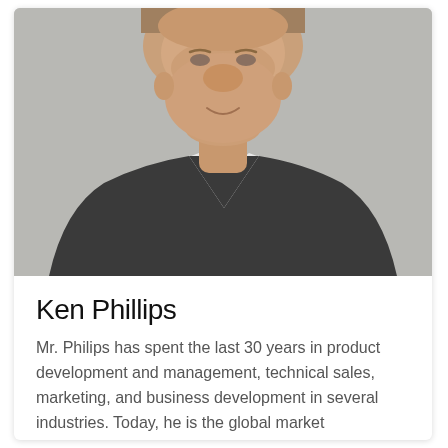[Figure (photo): Headshot of a man with short hair, wearing a dark charcoal v-neck sweater over a white collared shirt, smiling slightly, against a light gray background.]
Ken Phillips
Mr. Philips has spent the last 30 years in product development and management, technical sales, marketing, and business development in several industries. Today, he is the global market